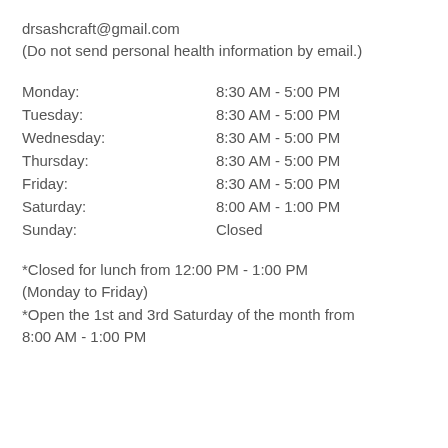drsashcraft@gmail.com
(Do not send personal health information by email.)
| Monday: | 8:30 AM - 5:00 PM |
| Tuesday: | 8:30 AM - 5:00 PM |
| Wednesday: | 8:30 AM - 5:00 PM |
| Thursday: | 8:30 AM - 5:00 PM |
| Friday: | 8:30 AM - 5:00 PM |
| Saturday: | 8:00 AM - 1:00 PM |
| Sunday: | Closed |
*Closed for lunch from 12:00 PM - 1:00 PM (Monday to Friday)
*Open the 1st and 3rd Saturday of the month from 8:00 AM - 1:00 PM